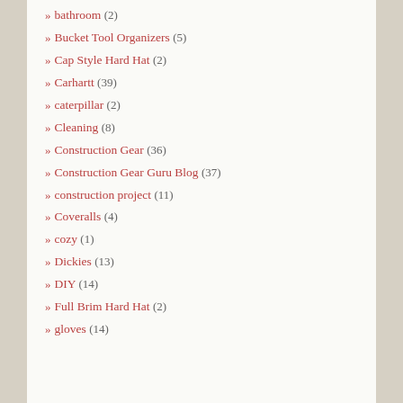» bathroom (2)
» Bucket Tool Organizers (5)
» Cap Style Hard Hat (2)
» Carhartt (39)
» caterpillar (2)
» Cleaning (8)
» Construction Gear (36)
» Construction Gear Guru Blog (37)
» construction project (11)
» Coveralls (4)
» cozy (1)
» Dickies (13)
» DIY (14)
» Full Brim Hard Hat (2)
» gloves (14)